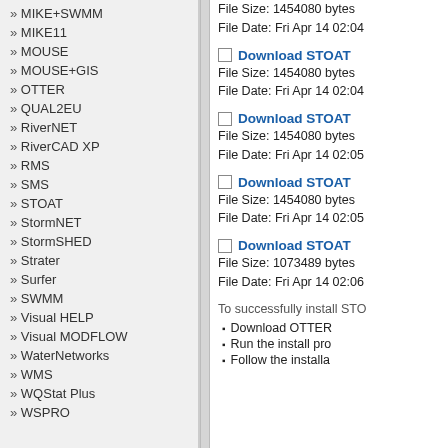MIKE+SWMM
MIKE11
MOUSE
MOUSE+GIS
OTTER
QUAL2EU
RiverNET
RiverCAD XP
RMS
SMS
STOAT
StormNET
StormSHED
Strater
Surfer
SWMM
Visual HELP
Visual MODFLOW
WaterNetworks
WMS
WQStat Plus
WSPRO
File Size: 1454080 bytes
File Date: Fri Apr 14 02:04
Download STOAT
File Size: 1454080 bytes
File Date: Fri Apr 14 02:04
Download STOAT
File Size: 1454080 bytes
File Date: Fri Apr 14 02:05
Download STOAT
File Size: 1454080 bytes
File Date: Fri Apr 14 02:05
Download STOAT
File Size: 1073489 bytes
File Date: Fri Apr 14 02:06
To successfully install STO
Download OTTER
Run the install pro
Follow the installa